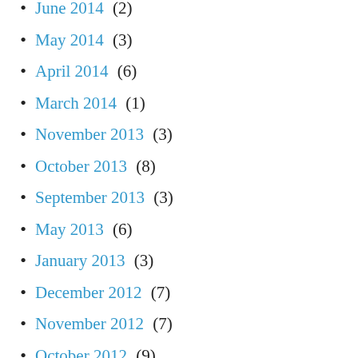June 2014 (2)
May 2014 (3)
April 2014 (6)
March 2014 (1)
November 2013 (3)
October 2013 (8)
September 2013 (3)
May 2013 (6)
January 2013 (3)
December 2012 (7)
November 2012 (7)
October 2012 (9)
September 2012 (7)
August 2012 (5)
July 2012 (8)
June 2012 (10)
May 2012 (17)